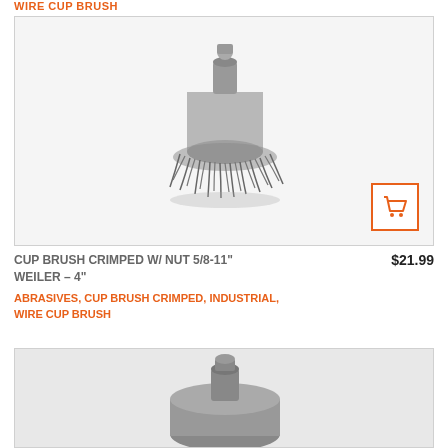WIRE CUP BRUSH
[Figure (photo): Product photo of a wire cup brush with crimped wires and threaded nut, silver/steel colored, viewed from above at slight angle]
CUP BRUSH CRIMPED W/ NUT 5/8-11" WEILER – 4"
$21.99
ABRASIVES, CUP BRUSH CRIMPED, INDUSTRIAL, WIRE CUP BRUSH
[Figure (photo): Product photo of a second wire cup brush, darker/gray colored, partially visible at bottom of page]